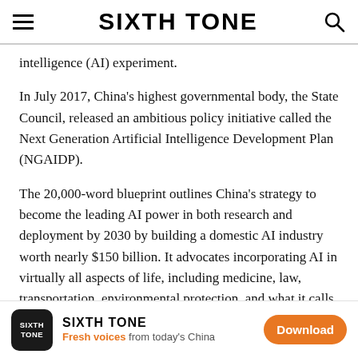SIXTH TONE
intelligence (AI) experiment.
In July 2017, China's highest governmental body, the State Council, released an ambitious policy initiative called the Next Generation Artificial Intelligence Development Plan (NGAIDP).
The 20,000-word blueprint outlines China's strategy to become the leading AI power in both research and deployment by 2030 by building a domestic AI industry worth nearly $150 billion. It advocates incorporating AI in virtually all aspects of life, including medicine, law, transportation, environmental protection, and what it calls “intelligent education.”
[Figure (other): Sixth Tone app download advertisement banner with logo, tagline 'Fresh voices from today's China', and orange Download button]